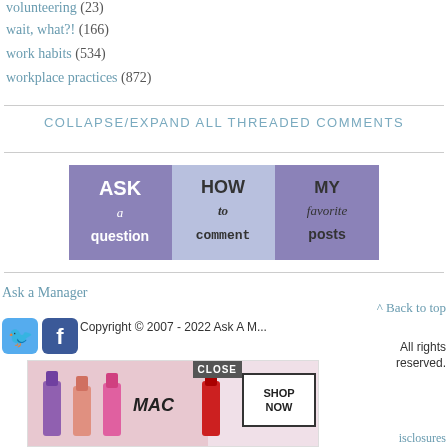volunteering (23)
wait, what?! (166)
work habits (534)
workplace practices (872)
COLLAPSE/EXPAND ALL THREADED COMMENTS
[Figure (illustration): Three-panel banner image with purple/lavender background. Left panel: 'ASK a question', middle panel: 'HOW to comment', right panel: 'MY favorite posts']
Ask a Manager
^ Back to top
Copyright © 2007 - 2022 Ask A M... All rights reserved.
[Figure (photo): MAC cosmetics advertisement showing lipsticks with SHOP NOW button and CLOSE overlay]
isclosures